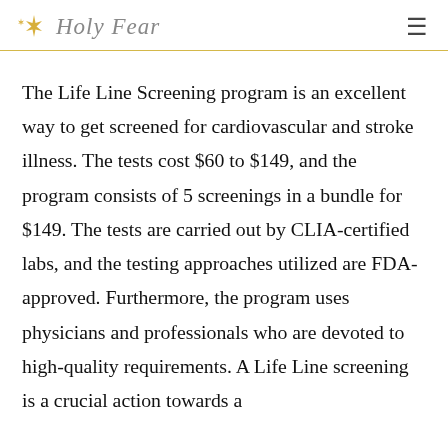Holy Fear
The Life Line Screening program is an excellent way to get screened for cardiovascular and stroke illness. The tests cost $60 to $149, and the program consists of 5 screenings in a bundle for $149. The tests are carried out by CLIA-certified labs, and the testing approaches utilized are FDA-approved. Furthermore, the program uses physicians and professionals who are devoted to high-quality requirements. A Life Line screening is a crucial action towards a